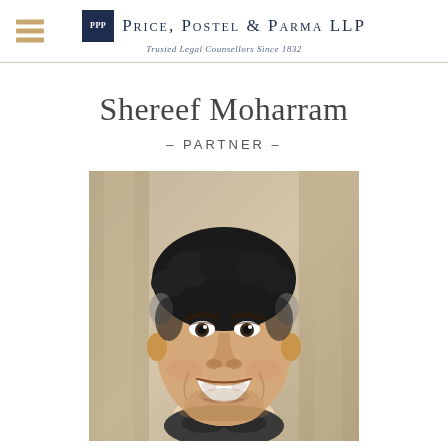Price, Postel & Parma LLP — Trusted Legal Counsellors Since 1832
Shereef Moharram
– PARTNER –
[Figure (photo): Professional headshot of Shereef Moharram, a man with dark curly hair, smiling, photographed against a blurred stone/column background.]